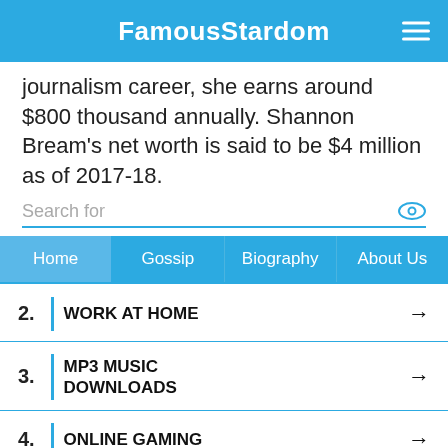FamousStardom
journalism career, she earns around $800 thousand annually. Shannon Bream's net worth is said to be $4 million as of 2017-18.
Search for
Home | Gossip | Biography | About Us
2. WORK AT HOME
3. MP3 MUSIC DOWNLOADS
4. ONLINE GAMING
Search for
1. DOWNLOAD MOVIES ONLINE
2. ONLINE GAMING